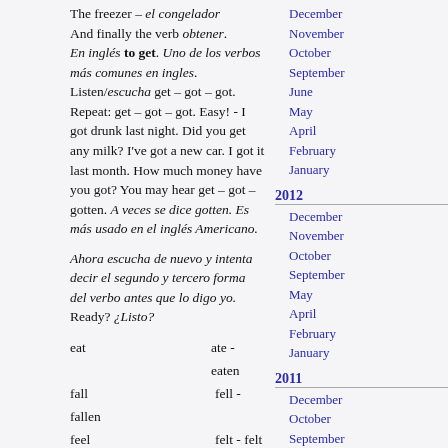The freezer – el congelador And finally the verb obtener. En inglés to get. Uno de los verbos más comunes en ingles. Listen/escucha get – got – got. Repeat: get – got – got. Easy! - I got drunk last night. Did you get any milk? I've got a new car. I got it last month. How much money have you got? You may hear get – got – gotten. A veces se dice gotten. Es más usado en el inglés Americano.
Ahora escucha de nuevo y intenta decir el segundo y tercero forma del verbo antes que lo digo yo. Ready? ¿Listo?
eat   ate - eaten
fall   fell -
fallen
feel   felt - felt
fight   fought -
fought
December
November
October
September
June
May
April
February
January
2012: December, November, October, September, May, April, February, January
2011: December, October, September, July, June, May, March, February, January
2010: November, October, July, June, April